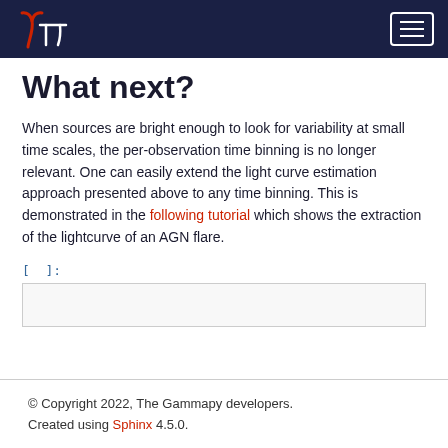Gammapy logo and navigation menu
What next?
When sources are bright enough to look for variability at small time scales, the per-observation time binning is no longer relevant. One can easily extend the light curve estimation approach presented above to any time binning. This is demonstrated in the following tutorial which shows the extraction of the lightcurve of an AGN flare.
[  ]:
© Copyright 2022, The Gammapy developers. Created using Sphinx 4.5.0.